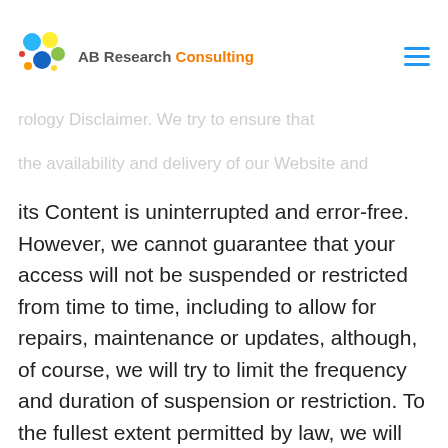AB Research Consulting
LITY OR OTHERWISE. rology Disclaimer. We try to ensure that the availability and delivery of our Website and its Content is uninterrupted and error-free. However, we cannot guarantee that your access will not be suspended or restricted from time to time, including to allow for repairs, maintenance or updates, although, of course, we will try to limit the frequency and duration of suspension or restriction. To the fullest extent permitted by law, we will be not be liable to you for damages or refunds, or for any other recourse, should our Website or its Content become unavailable or access to the them becomes slow or incomplete due to any reason, such as system back-up procedures,